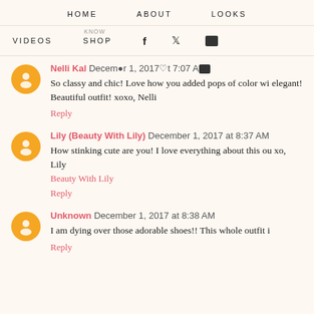HOME   ABOUT   LOOKS
KNOW VIDEOS   SHOP   f   twitter   instagram
Nelli Kal December 1, 2017 at 7:07 AM
So classy and chic! Love how you added pops of color wi... elegant! Beautiful outfit! xoxo, Nelli
Reply
Lily (Beauty With Lily) December 1, 2017 at 8:37 AM
How stinking cute are you! I love everything about this ou... xo, Lily
Beauty With Lily
Reply
Unknown December 1, 2017 at 8:38 AM
I am dying over those adorable shoes!! This whole outfit i...
Reply